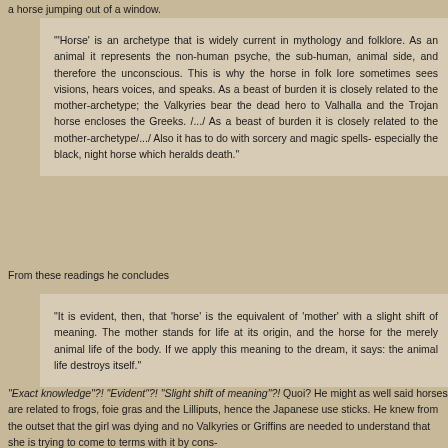a horse jumping out of a window.
"'Horse' is an archetype that is widely current in mythology and folklore. As an animal it represents the non-human psyche, the sub-human, animal side, and therefore the unconscious. This is why the horse in folk lore sometimes sees visions, hears voices, and speaks. As a beast of burden it is closely related to the mother-archetype; the Valkyries bear the dead hero to Valhalla and the Trojan horse encloses the Greeks. /.../ As a beast of burden it is closely related to the mother-archetype/.../ Also it has to do with sorcery and magic spells- especially the black, night horse which heralds death."
From these readings he concludes
"It is evident, then, that 'horse' is the equivalent of 'mother' with a slight shift of meaning. The mother stands for life at its origin, and the horse for the merely animal life of the body. If we apply this meaning to the dream, it says: the animal life destroys itself."
"Exact knowledge"?! "Evident"?! "Slight shift of meaning"?! Quoi? He might as well said horses are related to frogs, foie gras and the Lilliputs, hence the Japanese use sticks. He knew from the outset that the girl was dying and no Valkyries or Griffins are needed to understand that she is trying to come to terms with it by cons-